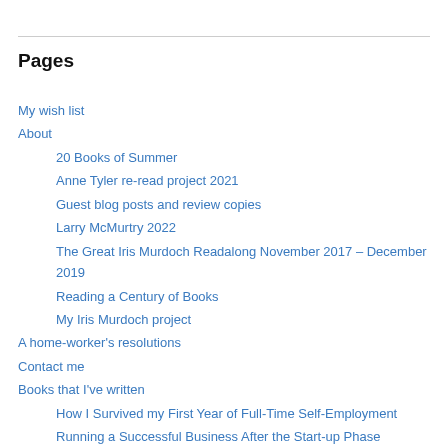Pages
My wish list
About
20 Books of Summer
Anne Tyler re-read project 2021
Guest blog posts and review copies
Larry McMurtry 2022
The Great Iris Murdoch Readalong November 2017 – December 2019
Reading a Century of Books
My Iris Murdoch project
A home-worker's resolutions
Contact me
Books that I've written
How I Survived my First Year of Full-Time Self-Employment
Running a Successful Business After the Start-up Phase
Your Guide to Starting and Building your Business